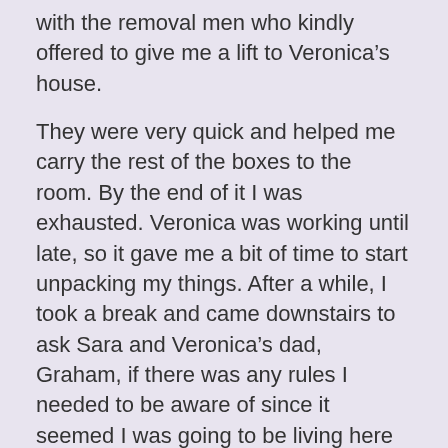with the removal men who kindly offered to give me a lift to Veronica’s house.
They were very quick and helped me carry the rest of the boxes to the room. By the end of it I was exhausted. Veronica was working until late, so it gave me a bit of time to start unpacking my things. After a while, I took a break and came downstairs to ask Sara and Veronica’s dad, Graham, if there was any rules I needed to be aware of since it seemed I was going to be living here for a period of time. ‘Coffee and tea, you can help yourself but obviously everything else such as food etc you need to pay and do yourself’. ‘That’s fine..’, I said nodding in agreement. ‘What about rent?’ I then asked. Sara looks at Graham with slight hesitation and then Graham says, ‘We’ll come to a decision and sort that out another time’ he said very quietly. ‘ Okay’, I